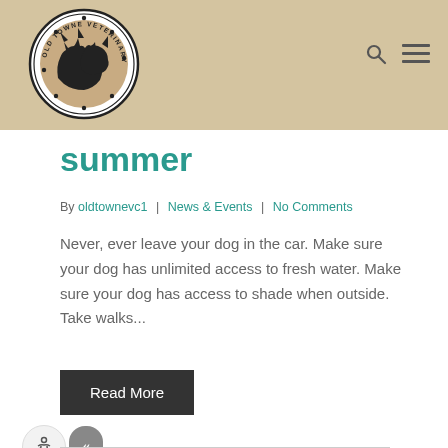[Figure (logo): Old Towne Veterinary Clinic circular logo with silhouettes of a cat and dog inside a circle, paw prints around the border, text reads OLD TOWNE VETERINARY CLINIC]
summer
By oldtownevc1 | News & Events | No Comments
Never, ever leave your dog in the car. Make sure your dog has unlimited access to fresh water. Make sure your dog has access to shade when outside. Take walks...
Read More